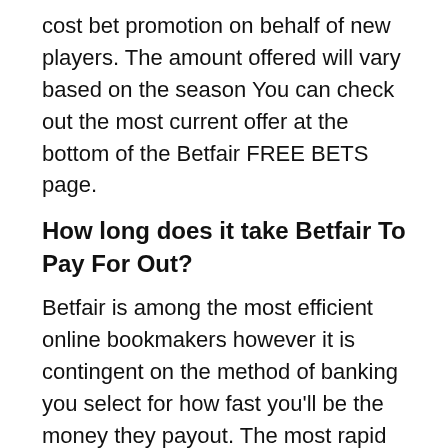cost bet promotion on behalf of new players. The amount offered will vary based on the season You can check out the most current offer at the bottom of the Betfair FREE BETS page.
How long does it take Betfair To Pay For Out?
Betfair is among the most efficient online bookmakers however it is contingent on the method of banking you select for how fast you'll be the money they payout. The most rapid options are PayPal (within 24-hours) as well as debit card (within 24 hours).
Are Betfair's odds better than the